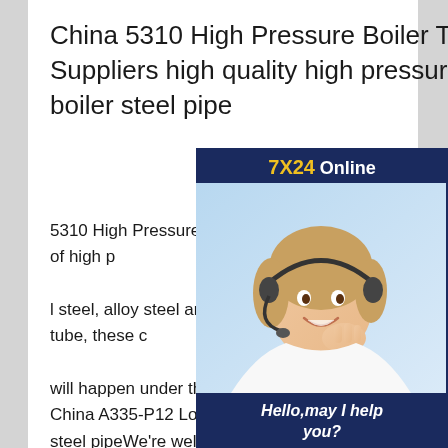China 5310 High Pressure Boiler Tube Suppliers high quality high pressure boiler steel pipe
[Figure (illustration): 7X24 Online chat widget showing a female customer service representative wearing a headset, with dark blue background, yellow 7X24 text, and a 'Get Latest Price' button]
5310 High Pressure Boiler Tube mainly used in the manufacture of high pressure and over pressure steam boiler pipes. With high quality carbon structural steel, alloy steel and stainless heat resistant steel seamless steel tube, these can work under high temperature and high pressure boiler tube, tube in high temperature flue gas and steam will happen under the action of oxidation and high quality high pressure boiler steel pipe China A335-P12 Low Pressure Boiler Seamless Steel Pipe high quality high pressure boiler steel pipeWe're well known as one of the